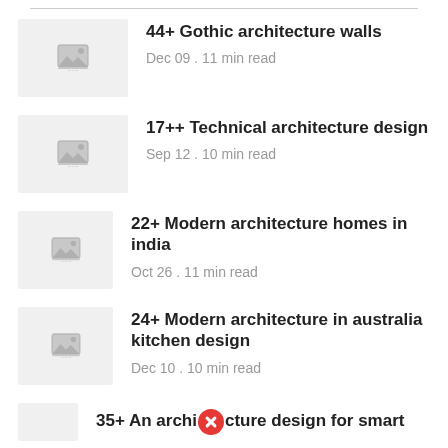44+ Gothic architecture walls
Dec 09 . 11 min read
17++ Technical architecture design
Sep 12 . 10 min read
22+ Modern architecture homes in india
Oct 26 . 11 min read
24+ Modern architecture in australia kitchen design
Dec 10 . 10 min read
35+ An architecture design for smart